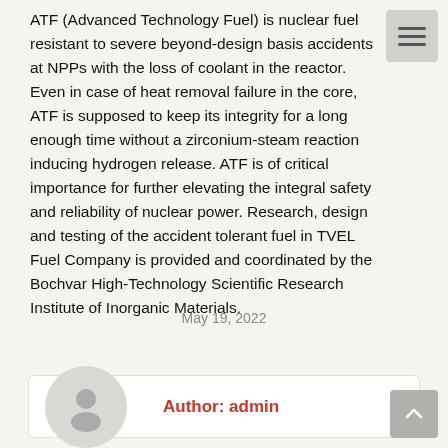ATF (Advanced Technology Fuel) is nuclear fuel resistant to severe beyond-design basis accidents at NPPs with the loss of coolant in the reactor. Even in case of heat removal failure in the core, ATF is supposed to keep its integrity for a long enough time without a zirconium-steam reaction inducing hydrogen release. ATF is of critical importance for further elevating the integral safety and reliability of nuclear power. Research, design and testing of the accident tolerant fuel in TVEL Fuel Company is provided and coordinated by the Bochvar High-Technology Scientific Research Institute of Inorganic Materials.
May 19, 2022
Author: admin